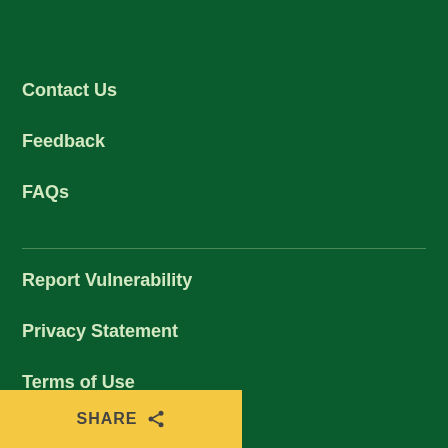Contact Us
Feedback
FAQs
Report Vulnerability
Privacy Statement
Terms of Use
Rate Our Website
SHARE